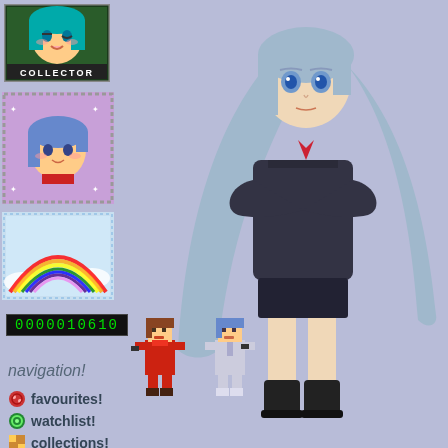[Figure (illustration): Anime collector stamp badge with green-haired anime girl character and 'COLLECTOR' text at bottom]
[Figure (illustration): Decorative stamp with dashed border showing blue-haired anime girl character on purple/pink background]
[Figure (illustration): Decorative stamp with dashed blue border showing rainbow over clouds]
0000010610
[Figure (illustration): Large anime figure/figurine of a girl with long silver-blue hair wearing a dark hoodie and short skirt with black boots]
[Figure (illustration): Two small pixel-art chibi anime characters - one in red suit and one in white suit]
navigation!
favourites!
watchlist!
collections!